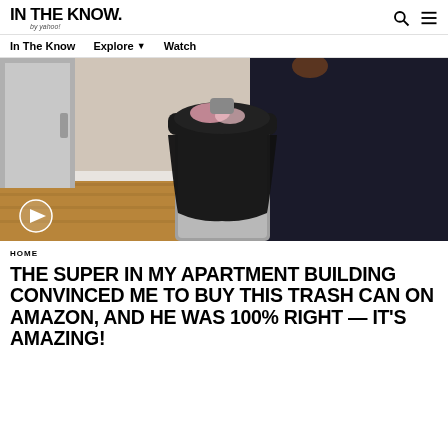IN THE KNOW. by yahoo!
In The Know   Explore ▾   Watch
[Figure (photo): Person in dark clothing throwing trash into a black trash can, set in a kitchen with hardwood floors and stainless steel refrigerator. A play button overlay is visible in the bottom left.]
HOME
THE SUPER IN MY APARTMENT BUILDING CONVINCED ME TO BUY THIS TRASH CAN ON AMAZON, AND HE WAS 100% RIGHT — IT'S AMAZING!